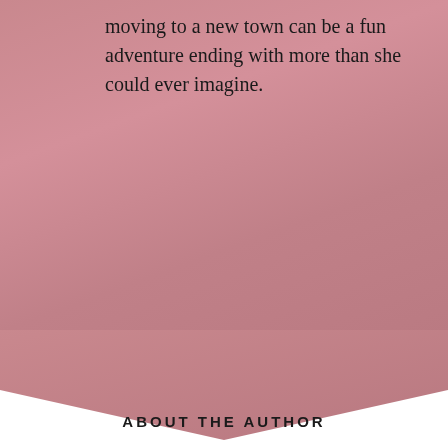moving to a new town can be a fun adventure ending with more than she could ever imagine.
[Figure (illustration): Pink/mauve background with a downward-pointing chevron/arrow shape at the bottom, transitioning to white background below.]
ABOUT THE AUTHOR